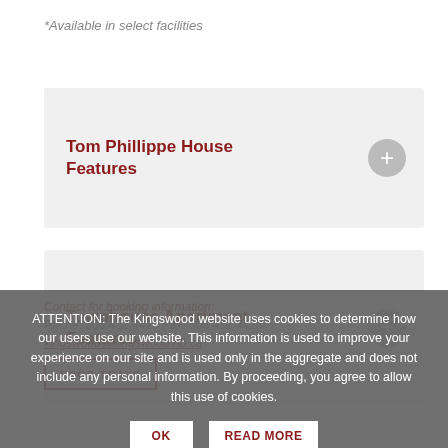*Available in select facilities
Tom Phillippe House Features
Townhouse Apartment Features
ATTENTION: The Kingswood website uses cookies to determine how our users use our website. This information is used to improve your experience on our site and is used only in the aggregate and does not include any personal information. By proceeding, you agree to allow this use of cookies.
Contact for booking information:
Phone: 506 432 4428 Fax: 506 432 4425
kingswood@kingswood.nb.ca
FOOD TRAYS